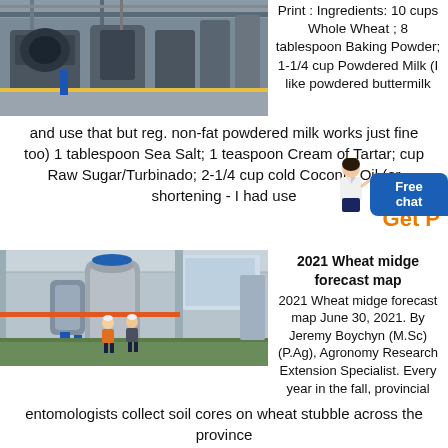[Figure (photo): Industrial milling facility interior with large machinery, gray concrete floor, and overhead structure]
Print : Ingredients: 10 cups Whole Wheat ; 8 tablespoon Baking Powder; 1-1/4 cup Powdered Milk (I like powdered buttermilk and use that but reg. non-fat powdered milk works just fine too) 1 tablespoon Sea Salt; 1 teaspoon Cream of Tartar; cup Raw Sugar/Turbinado; 2-1/4 cup cold Coconut Oil (or shortening - I had use
Get P
[Figure (photo): Industrial warehouse or factory interior with two workers in safety vests and hard hats standing on green-painted concrete floor near large cylindrical equipment]
2021 Wheat midge forecast map
2021 Wheat midge forecast map June 30, 2021. By Jeremy Boychyn (M.Sc) (P.Ag), Agronomy Research Extension Specialist. Every year in the fall, provincial
entomologists collect soil cores on wheat stubble across the province